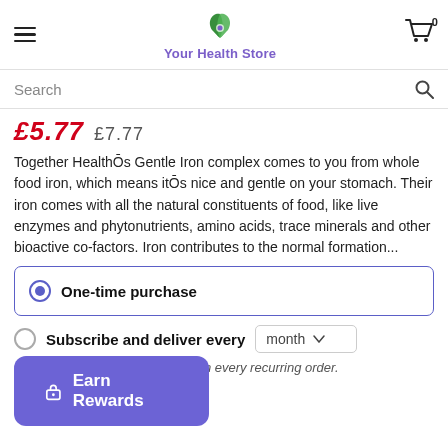Your Health Store
Search
£5.77  £7.77
Together HealthŌs Gentle Iron complex comes to you from whole food iron, which means itŌs nice and gentle on your stomach. Their iron comes with all the natural constituents of food, like live enzymes and phytonutrients, amino acids, trace minerals and other bioactive co-factors. Iron contributes to the normal formation...
One-time purchase
Subscribe and deliver every month
You will get a 5% discount on every recurring order.
See details
Earn Rewards